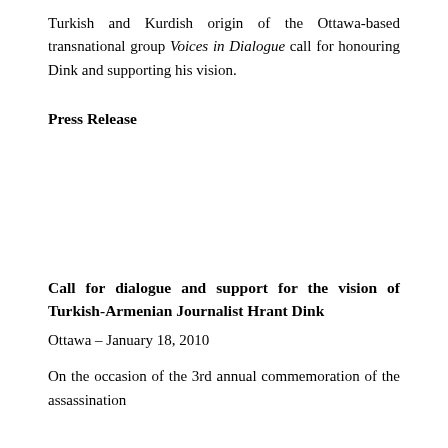Turkish and Kurdish origin of the Ottawa-based transnational group Voices in Dialogue call for honouring Dink and supporting his vision.
Press Release
Call for dialogue and support for the vision of Turkish-Armenian Journalist Hrant Dink
Ottawa – January 18, 2010
On the occasion of the 3rd annual commemoration of the assassination